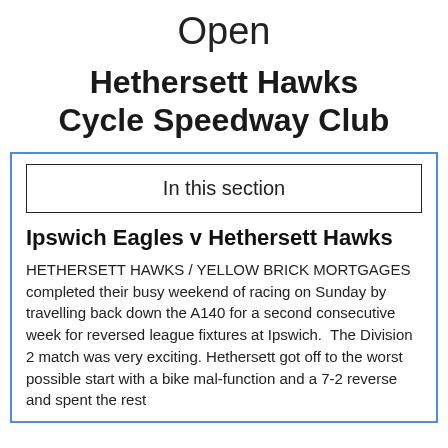Open
Hethersett Hawks Cycle Speedway Club
In this section
Ipswich Eagles v Hethersett Hawks
HETHERSETT HAWKS / YELLOW BRICK MORTGAGES completed their busy weekend of racing on Sunday by travelling back down the A140 for a second consecutive week for reversed league fixtures at Ipswich.  The Division 2 match was very exciting. Hethersett got off to the worst possible start with a bike mal-function and a 7-2 reverse and spent the rest